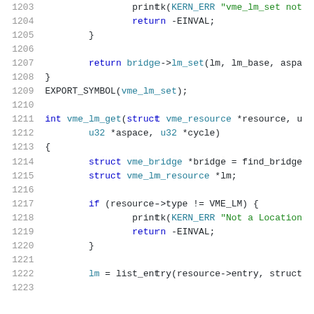[Figure (screenshot): Source code listing in C showing lines 1203–1223 of a VME bus driver. Lines include printk error calls, return statements, struct declarations, function definitions for vme_lm_get, and conditional checks for resource type VME_LM.]